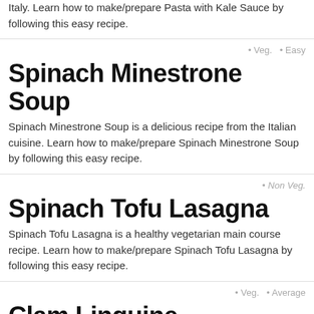Italy. Learn how to make/prepare Pasta with Kale Sauce by following this easy recipe.
• Veg.   • Easy
Spinach Minestrone Soup
Spinach Minestrone Soup is a delicious recipe from the Italian cuisine. Learn how to make/prepare Spinach Minestrone Soup by following this easy recipe.
• Non Veg.
Spinach Tofu Lasagna
Spinach Tofu Lasagna is a healthy vegetarian main course recipe. Learn how to make/prepare Spinach Tofu Lasagna by following this easy recipe.
• Veg.   • Average
Clam Linguine